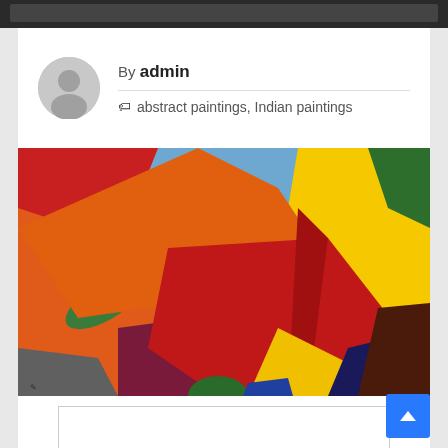By admin
abstract paintings, Indian paintings
[Figure (photo): Abstract painting with bold curved shapes in orange, red, yellow, green, blue, gray, dark blue, and brown colors on canvas]
Comments